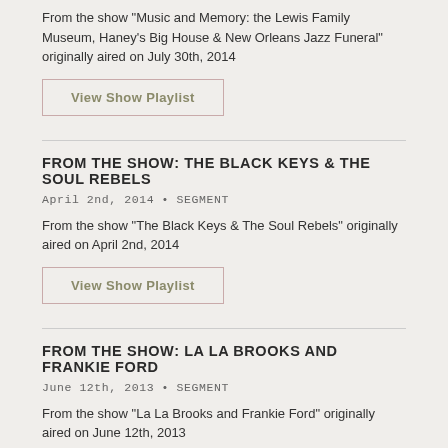From the show "Music and Memory: the Lewis Family Museum, Haney's Big House & New Orleans Jazz Funeral" originally aired on July 30th, 2014
View Show Playlist
FROM THE SHOW: THE BLACK KEYS & THE SOUL REBELS
April 2nd, 2014 • SEGMENT
From the show "The Black Keys & The Soul Rebels" originally aired on April 2nd, 2014
View Show Playlist
FROM THE SHOW: LA LA BROOKS AND FRANKIE FORD
June 12th, 2013 • SEGMENT
From the show "La La Brooks and Frankie Ford" originally aired on June 12th, 2013
View Show Playlist